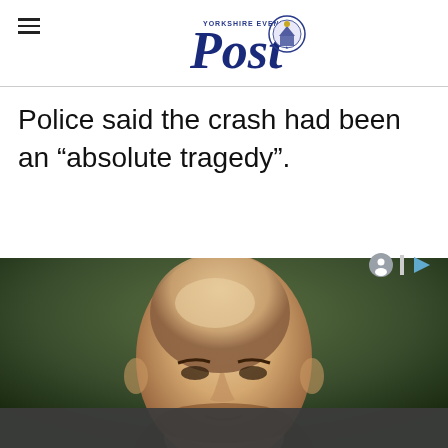YORKSHIRE EVENING Post [logo]
Police said the crash had been an “absolute tragedy”.
[Figure (photo): Portrait painting of an elderly bald man with a dark background, partially obscured by a dark grey bar across the lower portion.]